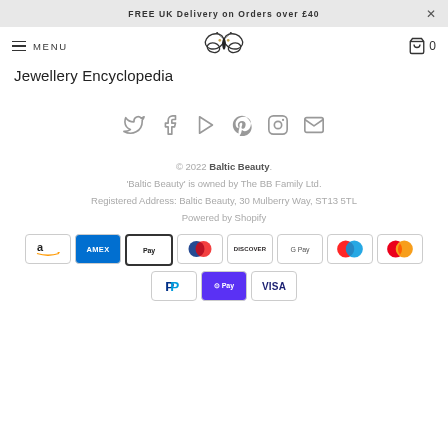FREE UK Delivery on Orders over £40
MENU
[Figure (logo): Baltic Beauty butterfly logo]
Jewellery Encyclopedia
[Figure (infographic): Social media icons: Twitter, Facebook, YouTube, Pinterest, Instagram, Email]
© 2022 Baltic Beauty. 'Baltic Beauty' is owned by The BB Family Ltd. Registered Address: Baltic Beauty, 30 Mulberry Way, ST13 5TL Powered by Shopify
[Figure (infographic): Payment method badges: Amazon, Amex, Apple Pay, Diners Club, Discover, Google Pay, Maestro, Mastercard, PayPal, Shop Pay, Visa]